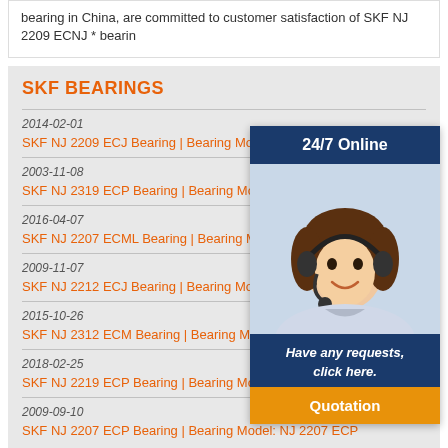bearing in China, are committed to customer satisfaction of SKF NJ 2209 ECNJ * bearin
SKF BEARINGS
2014-02-01
SKF NJ 2209 ECJ Bearing | Bearing Model: NJ 2209 ECJ
2003-11-08
SKF NJ 2319 ECP Bearing | Bearing Model: N
2016-04-07
SKF NJ 2207 ECML Bearing | Bearing Model:
2009-11-07
SKF NJ 2212 ECJ Bearing | Bearing Model: N
2015-10-26
SKF NJ 2312 ECM Bearing | Bearing Model: N
2018-02-25
SKF NJ 2219 ECP Bearing | Bearing Model: N
2009-09-10
SKF NJ 2207 ECP Bearing | Bearing Model: NJ 2207 ECP
[Figure (illustration): 24/7 Online customer service widget showing a woman with a headset, 'Have any requests, click here.' text, and a Quotation button]